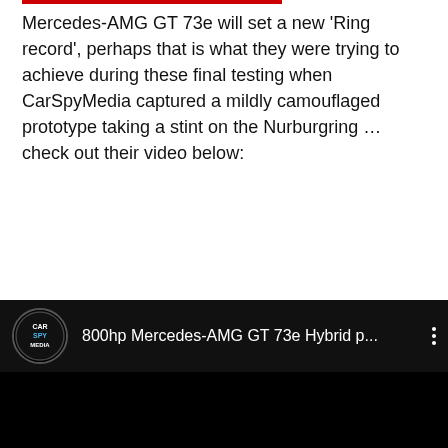Mercedes-AMG GT 73e will set a new 'Ring record', perhaps that is what they were trying to achieve during these final testing when CarSpyMedia captured a mildly camouflaged prototype taking a stint on the Nurburgring ... check out their video below:
[Figure (screenshot): Embedded YouTube video thumbnail showing CarSpyMedia channel with title '800hp Mercedes-AMG GT 73e Hybrid p...' with a black video preview area]